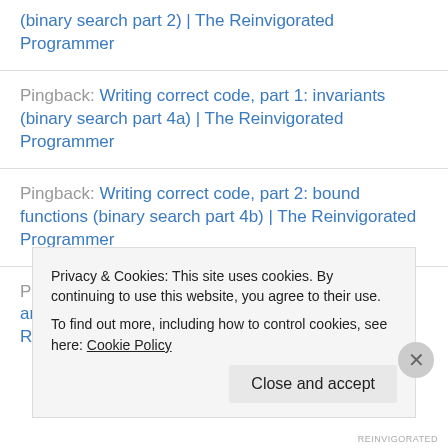(binary search part 2) | The Reinvigorated Programmer
Pingback: Writing correct code, part 1: invariants (binary search part 4a) | The Reinvigorated Programmer
Pingback: Writing correct code, part 2: bound functions (binary search part 4b) | The Reinvigorated Programmer
Pingback: Writing correct code, part 3: preconditions and postconditions (binary search part 4c) | The Reinvigorated
Privacy & Cookies: This site uses cookies. By continuing to use this website, you agree to their use.
To find out more, including how to control cookies, see here: Cookie Policy
Close and accept